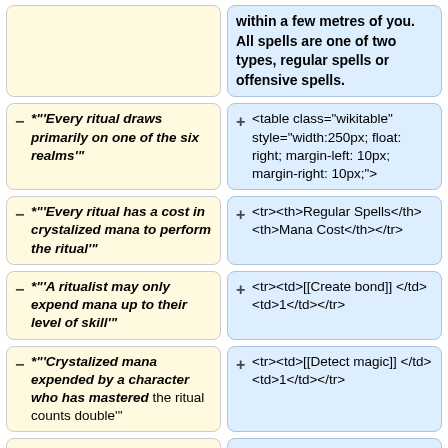within a few metres of you. All spells are one of two types, regular spells or offensive spells.
− *"'Every ritual draws primarily on one of the six realms'"
+ <table class="wikitable" style="width:250px; float: right; margin-left: 10px; margin-right: 10px;">
− *"'Every ritual has a cost in crystalized mana to perform the ritual'"
+ <tr><th>Regular Spells</th><th>Mana Cost</th></tr>
− *"'A ritualist may only expend mana up to their level of skill'"
+ <tr><td>[[Create bond]] </td><td>1</td></tr>
− *"'Crystalized mana expended by a character who has mastered the ritual counts double'"
+ <tr><td>[[Detect magic]] </td><td>1</td></tr>